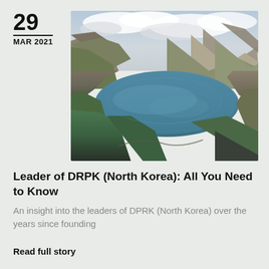29 MAR 2021
[Figure (photo): Aerial photograph of a crater lake surrounded by rugged mountain ridges with green slopes and cloudy sky above, likely Mount Paektu (Tianchi) on the North Korea-China border.]
Leader of DRPK (North Korea): All You Need to Know
An insight into the leaders of DPRK (North Korea) over the years since founding
Read full story